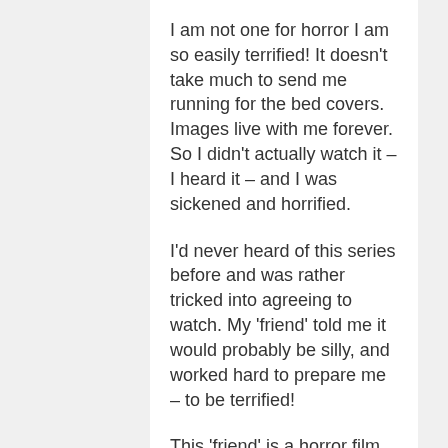I am not one for horror I am so easily terrified! It doesn't take much to send me running for the bed covers. Images live with me forever. So I didn't actually watch it – I heard it – and I was sickened and horrified.
I'd never heard of this series before and was rather tricked into agreeing to watch. My 'friend' told me it would probably be silly, and worked hard to prepare me – to be terrified!
This 'friend' is a horror film fanatic so I didn't altogether